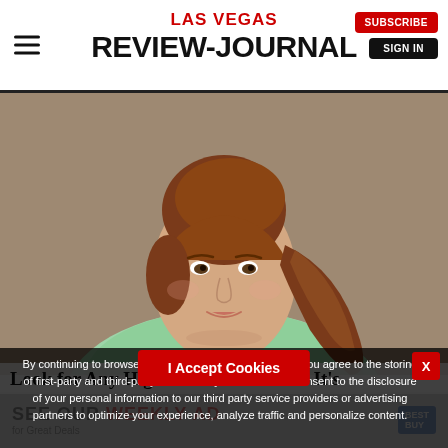LAS VEGAS REVIEW-JOURNAL
[Figure (photo): Portrait photo of a young woman with auburn hair in a 1960s-style bouffant ponytail, wearing a light green sweater, against a taupe background — digitally colorized yearbook-style photograph]
Look for Any High School Yearbook. It's
By continuing to browse or by clicking "I Accept Cookies" you agree to the storing of first-party and third-party cookies on your device and consent to the disclosure of your personal information to our third party service providers or advertising partners to optimize your experience, analyze traffic and personalize content.
I Accept Cookies
[Figure (infographic): SEE OUR WEEKLY AD for Great Deals — Best Buy advertisement banner]